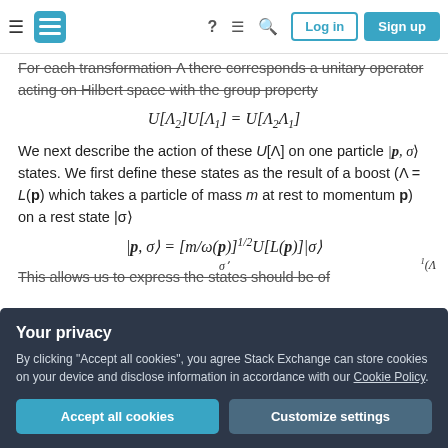Stack Exchange navigation bar with hamburger menu, logo, help, chat, search icons, Log in and Sign up buttons
For each transformation Λ there corresponds a unitary operator acting on Hilbert space with the group property
We next describe the action of these U[Λ] on one particle |p, σ⟩ states. We first define these states as the result of a boost (Λ = L(p) which takes a particle of mass m at rest to momentum p) on a rest state |σ⟩
This allows us to express the states should be of
Your privacy — By clicking "Accept all cookies", you agree Stack Exchange can store cookies on your device and disclose information in accordance with our Cookie Policy.
Accept all cookies | Customize settings